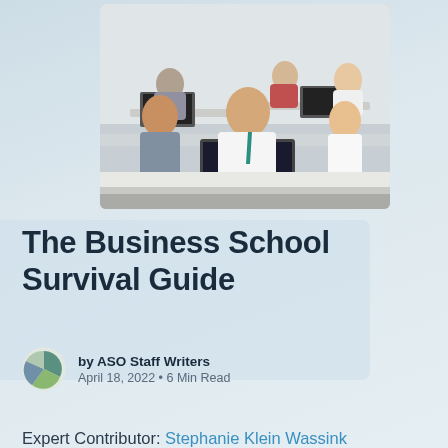[Figure (photo): Classroom scene with business professionals working on laptops at white desks; foreground shows a young man in a white shirt with a teal tie looking forward]
The Business School Survival Guide
by ASO Staff Writers
April 18, 2022 • 6 Min Read
Expert Contributor: Stephanie Klein Wassink